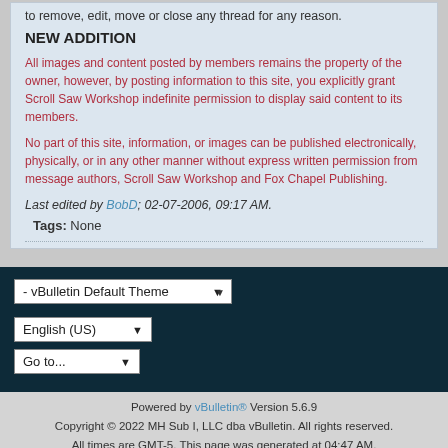to remove, edit, move or close any thread for any reason.
NEW ADDITION
All images and content posted by members remains the property of the owner, however, by posting information to this site, you explicitly grant Scroll Saw Workshop indefinite permission to display said content to its members.
No part of this site, information, or images can be published electronically, physically, or in any other manner without express written permission from message authors, Scroll Saw Workshop and Fox Chapel Publishing.
Last edited by BobD; 02-07-2006, 09:17 AM.
Tags: None
Powered by vBulletin® Version 5.6.9
Copyright © 2022 MH Sub I, LLC dba vBulletin. All rights reserved.
All times are GMT-5. This page was generated at 04:47 AM.